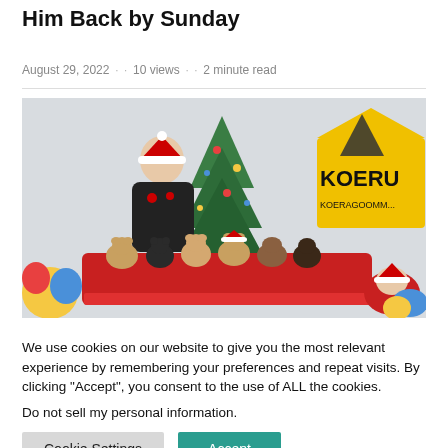Him Back by Sunday
August 29, 2022 · 10 views · 2 minute read
[Figure (photo): A person wearing a Santa hat holding several small dogs in a red decorated sleigh/cart, with a Christmas tree and a sign reading KOERUS in the background.]
We use cookies on our website to give you the most relevant experience by remembering your preferences and repeat visits. By clicking “Accept”, you consent to the use of ALL the cookies.
Do not sell my personal information.
Cookie Settings   Accept